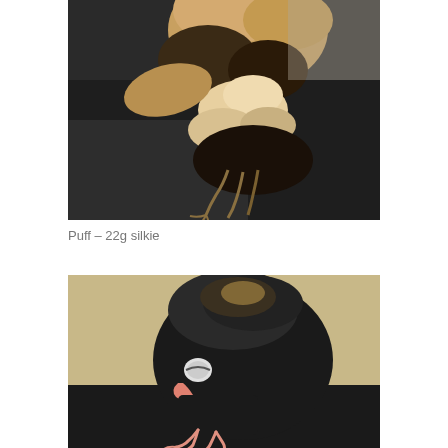[Figure (photo): Close-up photo of a fluffy chick (silkie) with golden/white and dark feathers on a dark surface, viewed from above.]
Puff – 22g silkie
[Figure (photo): Close-up photo of a small black fluffy chick with a visible closed eye and pink feet/beak, standing on a dark surface against a beige background.]